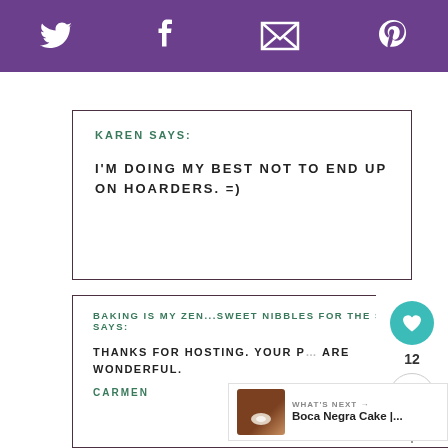Twitter | Facebook | Email | Pinterest
KAREN SAYS:

I'M DOING MY BEST NOT TO END UP ON HOARDERS. =)
BAKING IS MY ZEN...SWEET NIBBLES FOR THE SOUL SAYS:

THANKS FOR HOSTING. YOUR P... ARE WONDERFUL.

CARMEN